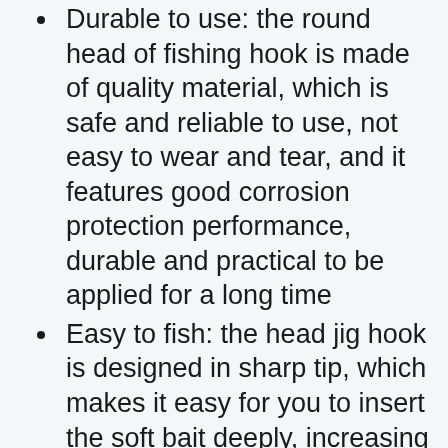Durable to use: the round head of fishing hook is made of quality material, which is safe and reliable to use, not easy to wear and tear, and it features good corrosion protection performance, durable and practical to be applied for a long time
Easy to fish: the head jig hook is designed in sharp tip, which makes it easy for you to insert the soft bait deeply, increasing the chance of catching fishes, and the barb of jig hook can prevent fishes from sliding or running away
Great for fishing: these jig fishing hooks are suitable for fishing in streams, ponds or some other